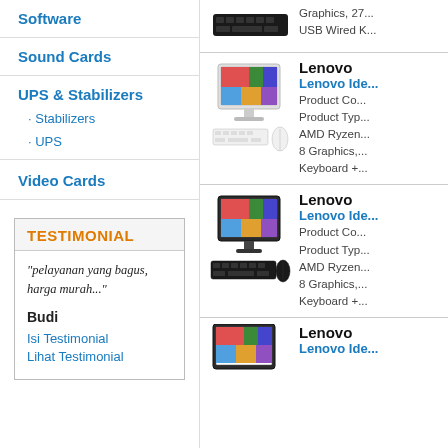Software
Sound Cards
UPS & Stabilizers
Stabilizers
UPS
Video Cards
TESTIMONIAL
"pelayanan yang bagus, harga murah..."
Budi
Isi Testimonial
Lihat Testimonial
[Figure (photo): Lenovo IdeaCentre All-in-One desktop computer with white keyboard and mouse]
Lenovo
Lenovo Ide...
Product Co...
Product Typ...
AMD Ryzen...
8 Graphics,...
Keyboard +...
[Figure (photo): Lenovo IdeaCentre All-in-One desktop computer with black keyboard]
Lenovo
Lenovo Ide...
Product Co...
Product Typ...
AMD Ryzen...
8 Graphics,...
Keyboard +...
[Figure (photo): Lenovo IdeaCentre All-in-One desktop computer partial view at bottom]
Lenovo
Lenovo Ide...